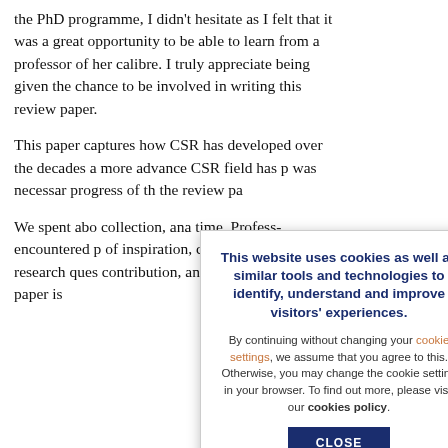the PhD programme, I didn't hesitate as I felt that it was a great opportunity to be able to learn from a professor of her calibre. I truly appreciate being given the chance to be involved in writing this review paper.
This paper captures how CSR has developed over the decades a... more advance... CSR field has p... was necessar... progress of th... the review pa...
We spent abo... collection, ana... time, Profess... encountered p... of inspiration,... constructive c... research ques... contribution, and understand how a paper is
[Figure (other): Cookie consent overlay dialog with title 'This website uses cookies as well as similar tools and technologies to identify, understand and improve visitors' experiences.' and a CLOSE button.]